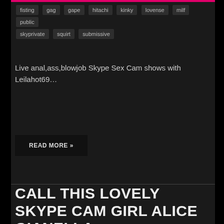fisting  gag  gape  hitachi  kinky  lovense  milf  public  skyprivate  squirt  submissive
Live anal,ass,blowjob Skype Sex Cam shows with Leilahot69…
READ MORE »
CALL THIS LOVELY SKYPE CAM GIRL ALICE GIANELLA
July 3, 2022  sk645gfwq  Skype Camgirls  Skyprivate  anal  bigtits  cute  fisting  squirt  teen  tits  Young
Call this lovely Skype Cam Girl Alice Gianella…